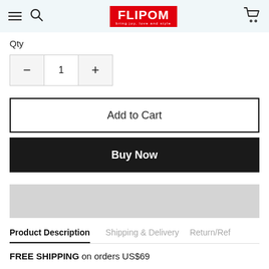FLIPOM bring joy, love and style
Qty
- 1 +
Add to Cart
Buy Now
[Figure (other): Grey banner placeholder]
Product Description | Shipping & Delivery | Return/Ref
FREE SHIPPING on orders US$69